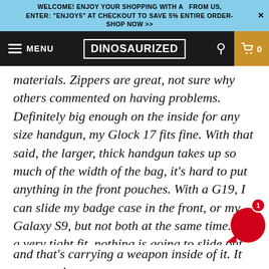WELCOME! ENJOY YOUR SHOPPING WITH A  FROM US, ENTER: "ENJOY5" AT CHECKOUT TO SAVE 5% ENTIRE ORDER- × SHOP NOW >>
[Figure (screenshot): Dinosaurized website navigation bar with hamburger menu, logo, search icon, and cart showing 0 items on orange background]
materials. Zippers are great, not sure why others commented on having problems. Definitely big enough on the inside for any size handgun, my Glock 17 fits fine. With that said, the larger, thick handgun takes up so much of the width of the bag, it's hard to put anything in the front pouches. With a G19, I can slide my badge case in the front, or my Galaxy S9, but not both at the same time. It's a very tight fit, nothing is going to slide out that's for sure. The bag is very nice for what it's designed and that's carrying a weapon inside of it. It protects the weapon very nicely. The Velcro